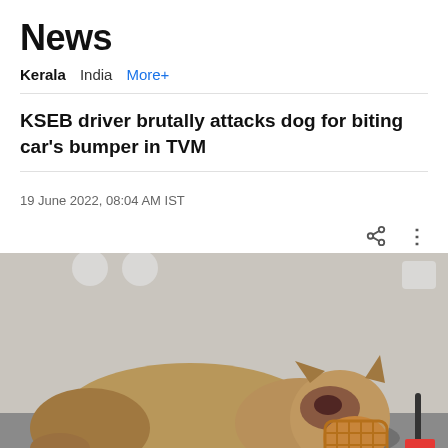News
Kerala  India  More+
KSEB driver brutally attacks dog for biting car's bumper in TVM
19 June 2022, 08:04 AM IST
[Figure (photo): An injured dog lying on a surface with a muzzle on its face, showing visible wounds and injuries, particularly around its face]